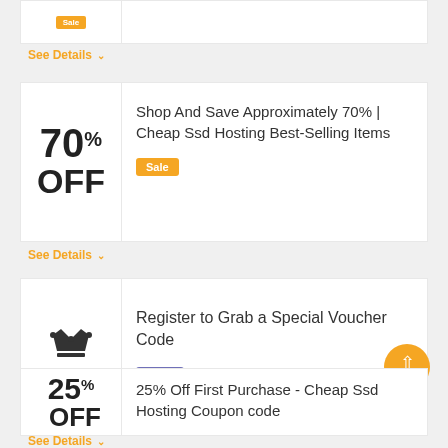[Figure (other): Partial card at top showing Sale badge]
See Details ∨
[Figure (other): Coupon card: 70% OFF - Shop And Save Approximately 70% | Cheap Ssd Hosting Best-Selling Items. Badge: Sale]
See Details ∨
[Figure (other): Coupon card: Subscription crown icon - Register to Grab a Special Voucher Code. Badge: Code]
See Details ∨
[Figure (other): Partial coupon card: 25% OFF - 25% Off First Purchase - Cheap Ssd Hosting Coupon code]